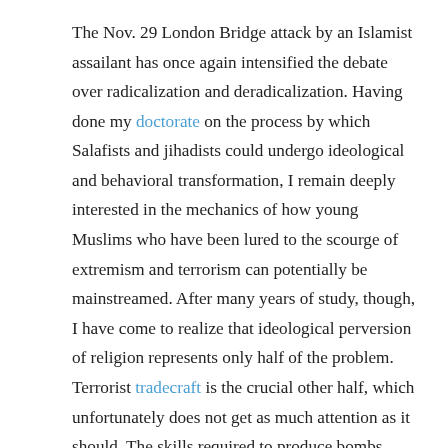The Nov. 29 London Bridge attack by an Islamist assailant has once again intensified the debate over radicalization and deradicalization. Having done my doctorate on the process by which Salafists and jihadists could undergo ideological and behavioral transformation, I remain deeply interested in the mechanics of how young Muslims who have been lured to the scourge of extremism and terrorism can potentially be mainstreamed. After many years of study, though, I have come to realize that ideological perversion of religion represents only half of the problem. Terrorist tradecraft is the crucial other half, which unfortunately does not get as much attention as it should. The skills required to produce bombs, handle weapons, plan and execute attacks – all the while remaining undetected – are the critical components without which the phenomenon of terrorism would not be the kind of threat it is today.